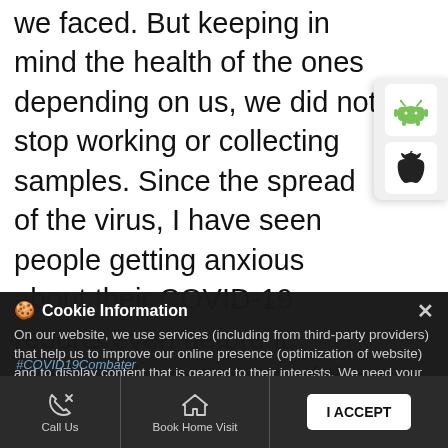we faced. But keeping in mind the health of the ones depending on us, we did not stop working or collecting samples. Since the spread of the virus, I have seen people getting anxious about their COVID-19 reports even before it reaches them. In one of the cases, a patient who tested positive for COVID and was placed under home quarantine. When the people in his housing society learnt this, they started to feel uneasy about this fact. I was informed about this by the patient and soon enough, I helped clarify the situation with the society members. My message to the people is that I understand that these are difficult times. Everyone is scared for their health. And we at
[Figure (illustration): Android and Apple app store download buttons/icons on right side panel]
Cookie Information
On our website, we use services (including from third-party providers) that help us to improve our online presence (optimization of website) and to display content that is geared to their interests. We need your consent before being able to use these services.
#COVID19Combater
Call Us
Book Home Visit
I ACCEPT
Directions